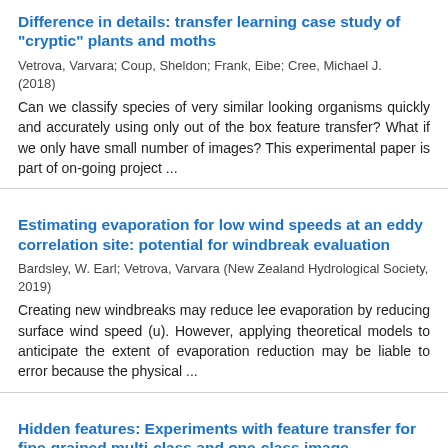Difference in details: transfer learning case study of "cryptic" plants and moths
Vetrova, Varvara; Coup, Sheldon; Frank, Eibe; Cree, Michael J. (2018)
Can we classify species of very similar looking organisms quickly and accurately using only out of the box feature transfer? What if we only have small number of images? This experimental paper is part of on-going project ...
Estimating evaporation for low wind speeds at an eddy correlation site: potential for windbreak evaluation
Bardsley, W. Earl; Vetrova, Varvara (New Zealand Hydrological Society, 2019)
Creating new windbreaks may reduce lee evaporation by reducing surface wind speed (u). However, applying theoretical models to anticipate the extent of evaporation reduction may be liable to error because the physical ...
Hidden features: Experiments with feature transfer for fine-grained multi-class and one-class image